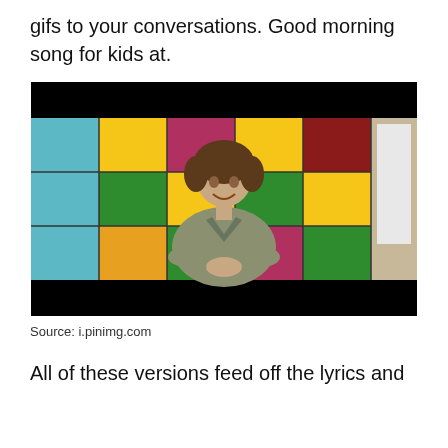gifs to your conversations. Good morning song for kids at.
[Figure (photo): A woman with short dark hair wearing a grey wrap top stands in front of a colorful foam tile wall background with red, yellow, blue, and green sections. She appears to be speaking or presenting. A white board is partially visible on the right. The image has black bars at top and bottom.]
Source: i.pinimg.com
All of these versions feed off the lyrics and